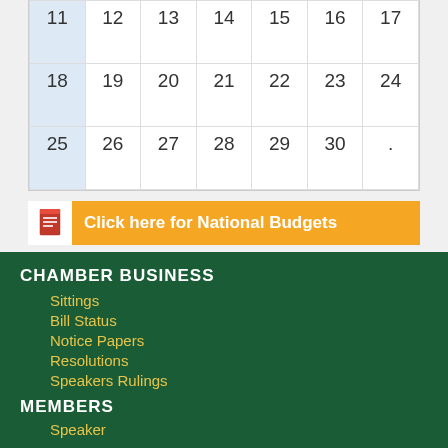| 11 | 12 | 13 | 14 | 15 | 16 | 17 |
| 18 | 19 | 20 | 21 | 22 | 23 | 24 |
| 25 | 26 | 27 | 28 | 29 | 30 | . |
Click here for National Budgets
SEE BUDGET SPEECHES HERE
CHAMBER BUSINESS
Sittings
Bill Status
Notice Papers
Resolutions
Speakers Rulings
MEMBERS
Speaker